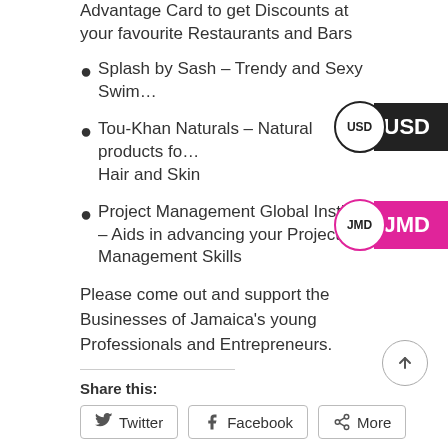Advantage Card to get Discounts at your favourite Restaurants and Bars
Splash by Sash – Trendy and Sexy Swim…
Tou-Khan Naturals – Natural products fo… Hair and Skin
Project Management Global Institute – Aids in advancing your Project Management Skills
Please come out and support the Businesses of Jamaica's young Professionals and Entrepreneurs.
Share this:
Twitter  Facebook  More
Like this: